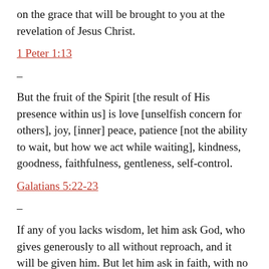on the grace that will be brought to you at the revelation of Jesus Christ.
1 Peter 1:13
–
But the fruit of the Spirit [the result of His presence within us] is love [unselfish concern for others], joy, [inner] peace, patience [not the ability to wait, but how we act while waiting], kindness, goodness, faithfulness, gentleness, self-control.
Galatians 5:22-23
–
If any of you lacks wisdom, let him ask God, who gives generously to all without reproach, and it will be given him. But let him ask in faith, with no doubting, for the one who doubts is like a wave of the sea that is driven and tossed by the wind. That person should not expect